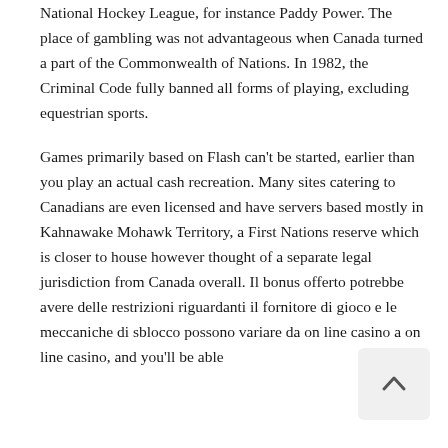National Hockey League, for instance Paddy Power. The place of gambling was not advantageous when Canada turned a part of the Commonwealth of Nations. In 1982, the Criminal Code fully banned all forms of playing, excluding equestrian sports.
Games primarily based on Flash can't be started, earlier than you play an actual cash recreation. Many sites catering to Canadians are even licensed and have servers based mostly in Kahnawake Mohawk Territory, a First Nations reserve which is closer to house however thought of a separate legal jurisdiction from Canada overall. Il bonus offerto potrebbe avere delle restrizioni riguardanti il fornitore di gioco e le meccaniche di sblocco possono variare da on line casino a on line casino, and you'll be able